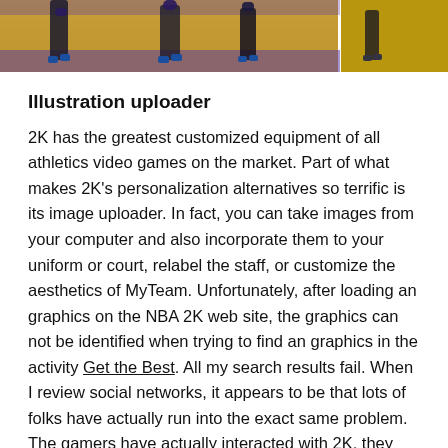[Figure (photo): Cropped photo of NBA basketball players on a purple and gold court, showing legs and shoes, with a dividing line in the middle.]
Illustration uploader
2K has the greatest customized equipment of all athletics video games on the market. Part of what makes 2K's personalization alternatives so terrific is its image uploader. In fact, you can take images from your computer and also incorporate them to your uniform or court, relabel the staff, or customize the aesthetics of MyTeam. Unfortunately, after loading an graphics on the NBA 2K web site, the graphics can not be identified when trying to find an graphics in the activity Get the Best. All my search results fail. When I review social networks, it appears to be that lots of folks have actually run into the exact same problem. The gamers have actually interacted with 2K, they already learn this problem, and it needs to be solved quickly.